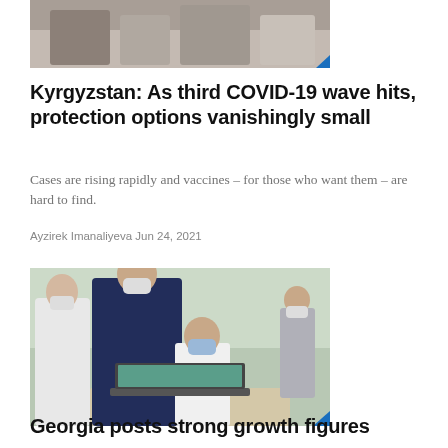[Figure (photo): Top portion of a photo showing people sitting, partially cropped, with a blue accent triangle in bottom-right corner]
Kyrgyzstan: As third COVID-19 wave hits, protection options vanishingly small
Cases are rising rapidly and vaccines – for those who want them – are hard to find.
Ayzirek Imanaliyeva Jun 24, 2021
[Figure (photo): Photo of adults and a child wearing face masks, with a man in a dark suit leaning over a child sitting at a desk with a laptop in a classroom with light green walls]
Georgia posts strong growth figures